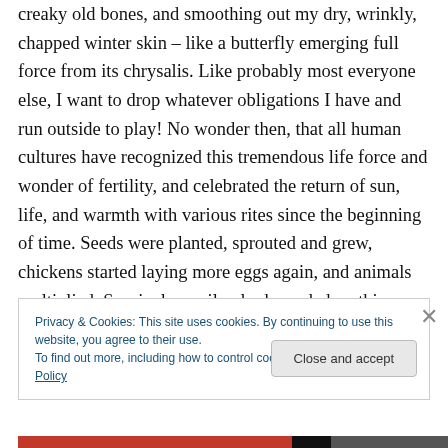creaky old bones, and smoothing out my dry, wrinkly, chapped winter skin – like a butterfly emerging full force from its chrysalis. Like probably most everyone else, I want to drop whatever obligations I have and run outside to play! No wonder then, that all human cultures have recognized this tremendous life force and wonder of fertility, and celebrated the return of sun, life, and warmth with various rites since the beginning of time. Seeds were planted, sprouted and grew, chickens started laying more eggs again, and animals multiplied. Survival mercilessly depended on this exuberant fecundity. From the dead
Privacy & Cookies: This site uses cookies. By continuing to use this website, you agree to their use.
To find out more, including how to control cookies, see here: Cookie Policy